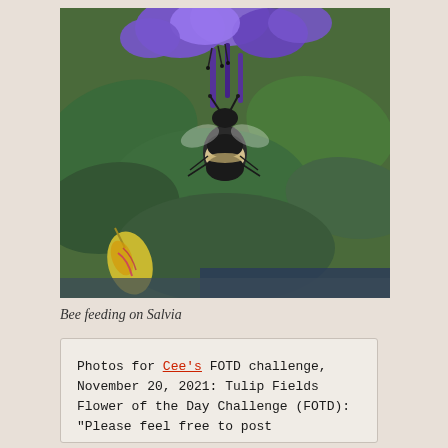[Figure (photo): Close-up photo of a bumblebee feeding on purple Salvia flowers, with green leaves in the background and a yellow-green tulip bud in the lower left.]
Bee feeding on Salvia
Photos for Cee's FOTD challenge, November 20, 2021: Tulip Fields Flower of the Day Challenge (FOTD): "Please feel free to post